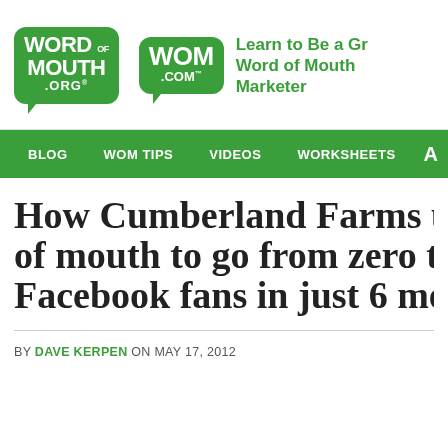[Figure (logo): Word of Mouth .org and WOM .com logos in green speech bubbles with tagline: Learn to Be a Great Word of Mouth Marketer]
BLOG  WOM TIPS  VIDEOS  WORKSHEETS
How Cumberland Farms used word of mouth to go from zero to Facebook fans in just 6 months
BY DAVE KERPEN ON MAY 17, 2012